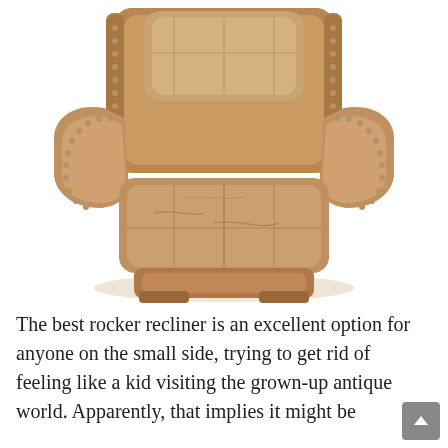[Figure (photo): A tan/brown leather rocker recliner chair viewed from the front, featuring rolled arms with brass nailhead trim detail along the edges, a high padded back with a separate pillow, and a large cushioned seat. The chair is photographed on a white background.]
The best rocker recliner is an excellent option for anyone on the small side, trying to get rid of feeling like a kid visiting the grown-up antique world. Apparently, that implies it might be